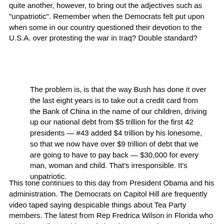quite another, however, to bring out the adjectives such as "unpatriotic". Remember when the Democrats felt put upon when some in our country questioned their devotion to the U.S.A. over protesting the war in Iraq? Double standard?
The problem is, is that the way Bush has done it over the last eight years is to take out a credit card from the Bank of China in the name of our children, driving up our national debt from $5 trillion for the first 42 presidents — #43 added $4 trillion by his lonesome, so that we now have over $9 trillion of debt that we are going to have to pay back — $30,000 for every man, woman and child. That's irresponsible. It's unpatriotic.
This tone continues to this day from President Obama and his administration. The Democrats on Capitol Hill are frequently video taped saying despicable things about Tea Party members. The latest from Rep Fredrica Wilson in Florida who told her audience this week that the Tea Partiers are "the real enemy", just as others have called them